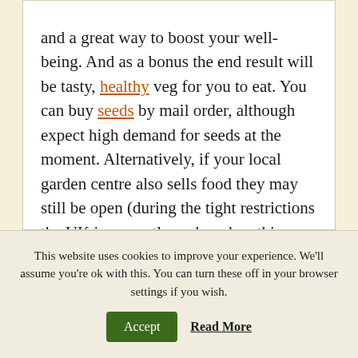and a great way to boost your well-being. And as a bonus the end result will be tasty, healthy veg for you to eat. You can buy seeds by mail order, although expect high demand for seeds at the moment. Alternatively, if your local garden centre also sells food they may still be open (during the tight restrictions the UK is currently under when this was written) and are offering compost and seeds and other garden products. Some may deliver or they may have a call and collect service.
This website uses cookies to improve your experience. We'll assume you're ok with this. You can turn these off in your browser settings if you wish.